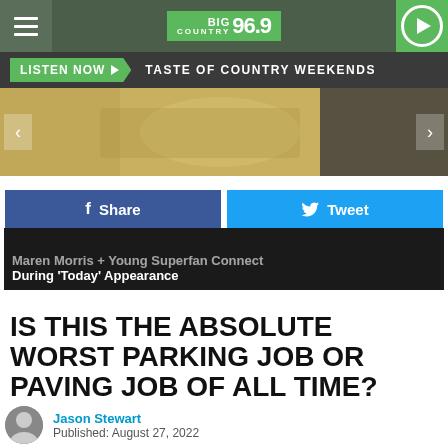[Figure (screenshot): Big Country 96.9 radio station website header with hamburger menu, logo, and play button on dark green background]
[Figure (screenshot): Listen Now button and 'Taste of Country Weekends' banner on dark background]
[Figure (photo): Slider image showing close-up photo with left and right navigation arrows]
[Figure (screenshot): Facebook Share and Twitter Tweet social sharing buttons]
[Figure (screenshot): Promotional banner showing 'Maren Morris + Young Superfan Connect During Today Appearance']
IS THIS THE ABSOLUTE WORST PARKING JOB OR PAVING JOB OF ALL TIME?
Jason Stewart
Published: August 27, 2022